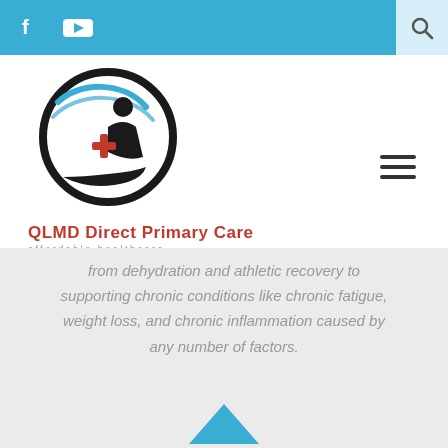[Figure (logo): QLMD Direct Primary Care logo with circular emblem featuring a figure and red cross on a hand, with blue swoosh elements]
from dehydration and athletic recovery to supporting chronic conditions like chronic fatigue, weight loss, and chronic inflammation caused by any number of factors.